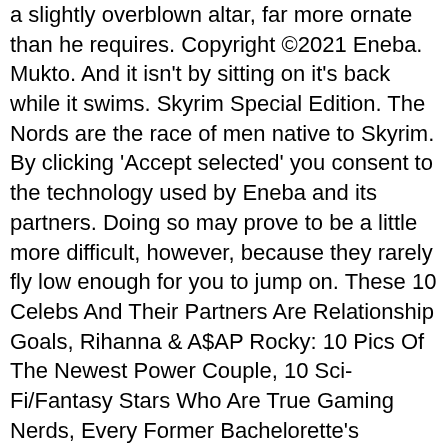a slightly overblown altar, far more ornate than he requires. Copyright ©2021 Eneba. Mukto. And it isn't by sitting on it's back while it swims. Skyrim Special Edition. The Nords are the race of men native to Skyrim. By clicking 'Accept selected' you consent to the technology used by Eneba and its partners. Doing so may prove to be a little more difficult, however, because they rarely fly low enough for you to jump on. These 10 Celebs And Their Partners Are Relationship Goals, Rihanna & A$AP Rocky: 10 Pics Of The Newest Power Couple, 10 Sci-Fi/Fantasy Stars Who Are True Gaming Nerds, Every Former Bachelorette's Current Day Job, 5 Celebs With Amazing YouTube Channels (& 5 Who Should Start One), Fun Facts About Selena Gomez & BLACKPINK's Collab "Ice Cream". News 16/04/2019 Skyrim has been around for a while, but this action role-playing video game seems to get better and better with each new installation. Nouvelle vidéo pour 2020/2021: https://www.youtube.com/watch?v=NIG9hm-H71U&t=27sVoici mes mods pour améliorer Skyrim en 2019. Remembers the user's selected language version of the website. South of